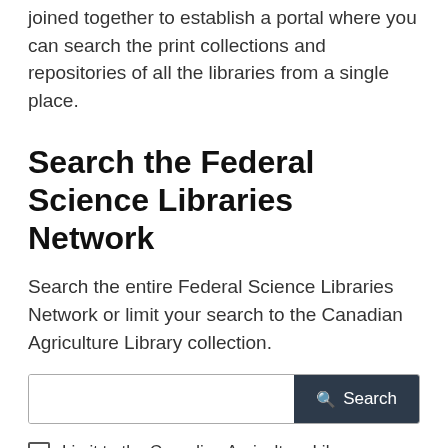joined together to establish a portal where you can search the print collections and repositories of all the libraries from a single place.
Search the Federal Science Libraries Network
Search the entire Federal Science Libraries Network or limit your search to the Canadian Agriculture Library collection.
[Figure (screenshot): Search bar with text input field and dark Search button with magnifying glass icon]
Limit to the Canadian Agriculture Library collection